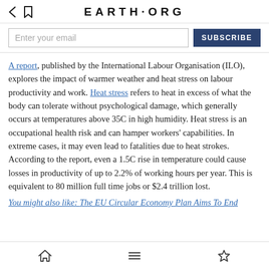EARTH·ORG
Enter your email  SUBSCRIBE
A report, published by the International Labour Organisation (ILO), explores the impact of warmer weather and heat stress on labour productivity and work. Heat stress refers to heat in excess of what the body can tolerate without psychological damage, which generally occurs at temperatures above 35C in high humidity. Heat stress is an occupational health risk and can hamper workers' capabilities. In extreme cases, it may even lead to fatalities due to heat strokes. According to the report, even a 1.5C rise in temperature could cause losses in productivity of up to 2.2% of working hours per year. This is equivalent to 80 million full time jobs or $2.4 trillion lost.
You might also like The EU Circular Economy Plan Aims To End...
Navigation icons: home, menu, bookmark